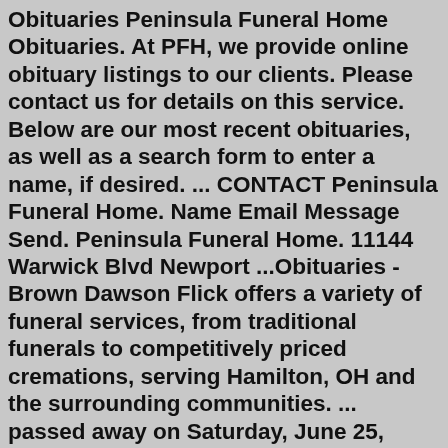Obituaries Peninsula Funeral Home Obituaries. At PFH, we provide online obituary listings to our clients. Please contact us for details on this service. Below are our most recent obituaries, as well as a search form to enter a name, if desired. ... CONTACT Peninsula Funeral Home. Name Email Message Send. Peninsula Funeral Home. 11144 Warwick Blvd Newport ...Obituaries - Brown Dawson Flick offers a variety of funeral services, from traditional funerals to competitively priced cremations, serving Hamilton, OH and the surrounding communities. ... passed away on Saturday, June 25, 2022. Leonard, known to most as Lucky, he was born in London, Kentucky on June 11, 1948 to the late Benjamin and Cora ...Obituaries. Find your loved one. Receive notifications Date Of Death ... Walters Funeral Home Phone: (903) 536-2551 610 South Commerce Street (State Highway 75) Obituaries & obituary notices in London. Search by name or location to find online obituaries. ... Home; Obituaries; Obituaries in London. ... Funeral: 8 Aug 2022 ... Search by name or location to find online